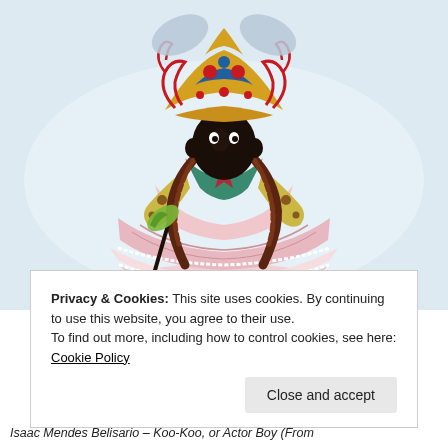[Figure (illustration): Historical illustration of a costumed figure — Isaac Mendes Belisario's 'Koo-Koo, or Actor Boy'. The figure wears an elaborate, colorful headdress with decorative motifs, a tiered pink and white ruffled dress, jeweled bodice, braided hair, and holds a staff. The background is a pale blue wash.]
Privacy & Cookies: This site uses cookies. By continuing to use this website, you agree to their use.
To find out more, including how to control cookies, see here: Cookie Policy
Close and accept
Isaac Mendes Belisario – Koo-Koo, or Actor Boy (From